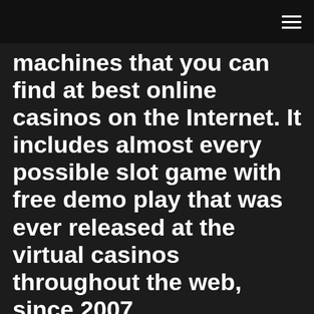[hamburger menu icon]
machines that you can find at best online casinos on the Internet. It includes almost every possible slot game with free demo play that was ever released at the virtual casinos throughout the web, since 2007.
Play more than 100 Wazdan Slots, Specialty Games, and Video Pokies by a Popular Vendor. This is one of the most successful game manufacturers of all time that takes a decent place in the gambling industry. Slots Magic Online Casino's Demo Games List with Free Spins Slots Magic slot machine – play Online Casinos free slot games online –No